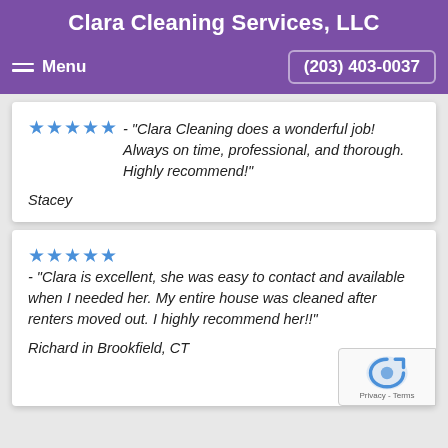Clara Cleaning Services, LLC
Menu  (203) 403-0037
★★★★★ - "Clara Cleaning does a wonderful job! Always on time, professional, and thorough. Highly recommend!"

Stacey
★★★★★ - "Clara is excellent, she was easy to contact and available when I needed her. My entire house was cleaned after renters moved out. I highly recommend her!!"

Richard in Brookfield, CT